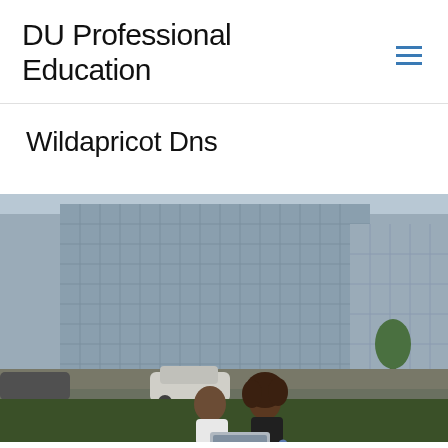DU Professional Education
Wildapricot Dns
[Figure (photo): Two people, a bald man and a woman with curly hair, sitting on grass outdoors in an urban setting looking at a laptop together. Modern glass office buildings visible in the background with cars on the street.]